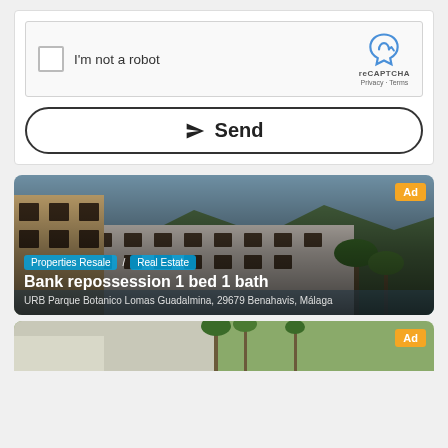[Figure (screenshot): reCAPTCHA checkbox widget with 'I'm not a robot' text and Google reCAPTCHA logo on the right]
I'm not a robot
reCAPTCHA
Privacy · Terms
Send
[Figure (photo): Property listing card showing a multi-story white apartment building with palm trees and mountains in background. Category tags: Properties Resale / Real Estate. Title: Bank repossession 1 bed 1 bath. Address: URB Parque Botanico Lomas Guadalmina, 29679 Benahavis, Málaga. Ad badge in top right corner.]
Properties Resale  /  Real Estate
Bank repossession 1 bed 1 bath
URB Parque Botanico Lomas Guadalmina, 29679 Benahavis, Málaga
[Figure (photo): Partial second property listing card showing a garden/outdoor area, partially visible at the bottom of the page. Ad badge visible in top right corner.]